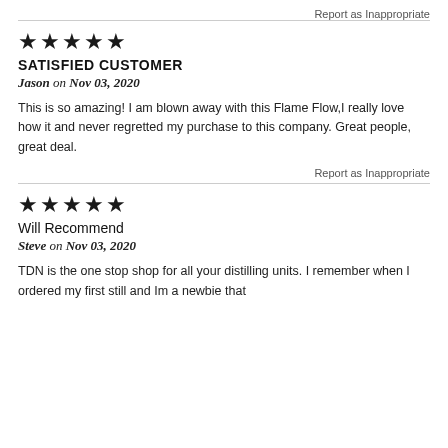Report as Inappropriate
★★★★★
SATISFIED CUSTOMER
Jason on Nov 03, 2020
This is so amazing! I am blown away with this Flame Flow,I really love how it and never regretted my purchase to this company. Great people, great deal.
Report as Inappropriate
★★★★★
Will Recommend
Steve on Nov 03, 2020
TDN is the one stop shop for all your distilling units. I remember when I ordered my first still and Im a newbie that